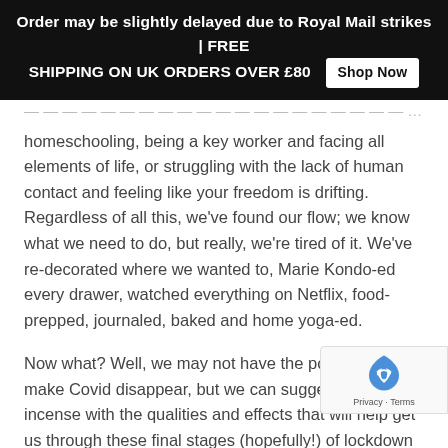Order may be slightly delayed due to Royal Mail strikes | FREE SHIPPING ON UK ORDERS OVER £80  Shop Now
homeschooling, being a key worker and facing all elements of life, or struggling with the lack of human contact and feeling like your freedom is drifting. Regardless of all this, we've found our flow; we know what we need to do, but really, we're tired of it. We've re-decorated where we wanted to, Marie Kondo-ed every drawer, watched everything on Netflix, food-prepped, journaled, baked and home yoga-ed.
Now what? Well, we may not have the powers to make Covid disappear, but we can suggest some incense with the qualities and effects that will help get us through these final stages (hopefully!) of lockdown – at least until we can get excited about Christmas – when inevitably, the new-mother in me will find something else to craft. Plus, our incense will make your home feel like a sanctuary – a top priority considering how much time we now spend in it.